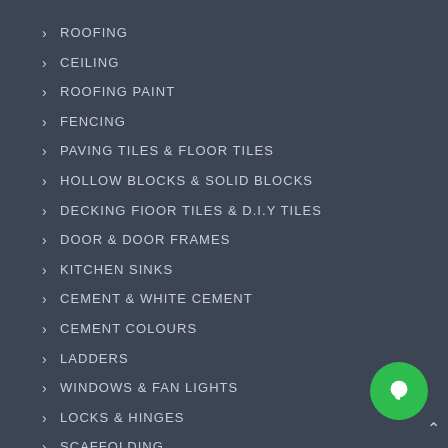ROOFING
CEILING
ROOFING PAINT
FENCING
PAVING TILES & FLOOR TILES
HOLLOW BLOCKS & SOLID BLOCKS
DECKING FIOOR TILES & D.I.Y TILES
DOOR & DOOR FRAMES
KITCHEN SINKS
CEMENT & WHITE CEMENT
CEMENT COLOURS
LADDERS
WINDOWS & FAN LIGHTS
LOCKS & HINGES
SCAFFOLDING
STEEL ITEMS
WHEEL BARROWS & HAND CART
CONSTRUCTION MACHINERY
AGRICULTURE SHADE NET